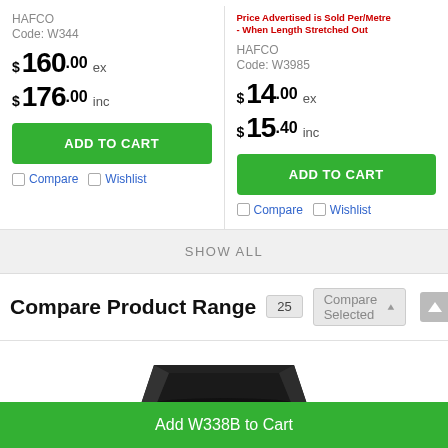Price Advertised is Sold Per/Metre - When Length Stretched Out
HAFCO
Code: W344
$ 160.00 ex
$ 176.00 inc
ADD TO CART
Compare  Wishlist
HAFCO
Code: W3985
$ 14.00 ex
$ 15.40 inc
ADD TO CART
Compare  Wishlist
SHOW ALL
Compare Product Range
25
Compare Selected
[Figure (photo): Black tray/container product image]
Add W338B to Cart